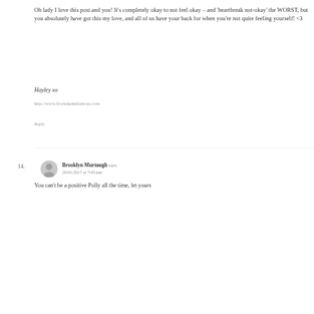Oh lady I love this post and you! It's completely okay to not feel okay – and 'heartbreak not-okay' the WORST, but you absolutely have got this my love, and all of us have your back for when you're not quite feeling yourself! <3
Hayley xo
http://www.frockmeimfamous.com
Reply
14.
Brooklyn Murtaugh says:
20/01/2017 at 7:45 pm
You can't be a positive Polly all the time, let yours